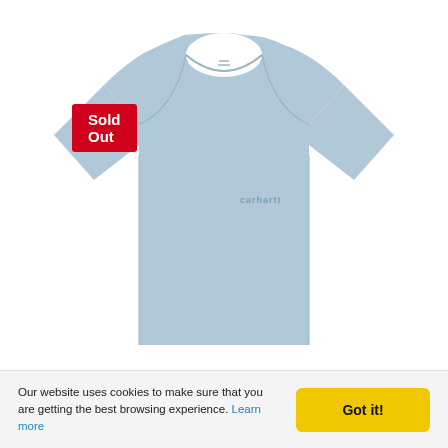[Figure (photo): Light blue Carhartt WIP short-sleeve t-shirt with small Carhartt logo embroidered on the left chest, displayed on white background. A red 'Sold Out' badge overlays the top-left area of the product image.]
Our website uses cookies to make sure that you are getting the best browsing experience. Learn more
Got it!